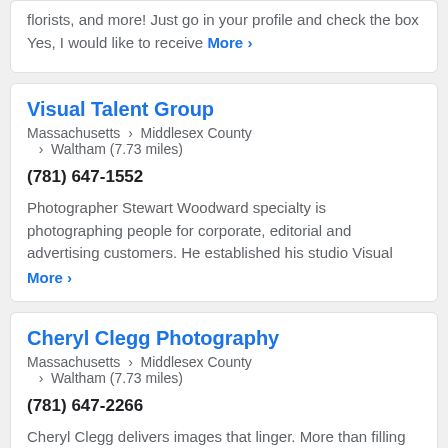florists, and more! Just go in your profile and check the box Yes, I would like to receive More ›
Visual Talent Group
Massachusetts › Middlesex County › Waltham (7.73 miles)
(781) 647-1552
Photographer Stewart Woodward specialty is photographing people for corporate, editorial and advertising customers. He established his studio Visual More ›
Cheryl Clegg Photography
Massachusetts › Middlesex County › Waltham (7.73 miles)
(781) 647-2266
Cheryl Clegg delivers images that linger. More than filling